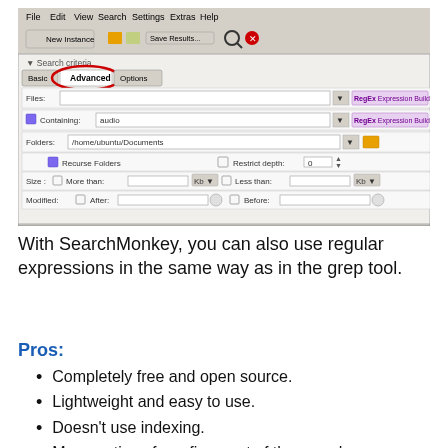[Figure (screenshot): SearchMonkey application window showing the Advanced tab selected (circled in red) within Search criteria panel. Fields visible: Files, Containing (with value 'audio'), Folders (/home/ubuntu/Documents), Recurse Folders checkbox, Restrict depth, Size (More than / Less than in Kb), Modified (After / Before). RegEx Expression Builder buttons on the right.]
With SearchMonkey, you can also use regular expressions in the same way as in the grep tool.
Pros:
Completely free and open source.
Lightweight and easy to use.
Doesn't use indexing.
Many options for refinement of the search.